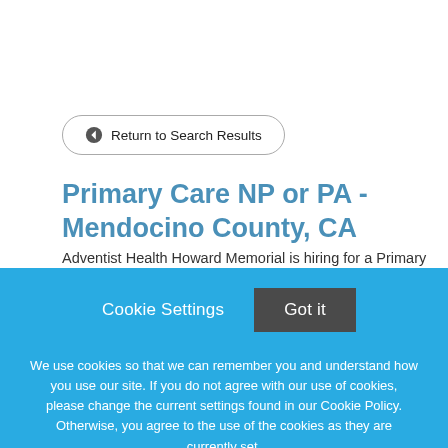← Return to Search Results
Primary Care NP or PA - Mendocino County, CA
Adventist Health Howard Memorial is hiring for a Primary
Cookie Settings   Got it
We use cookies so that we can remember you and understand how you use our site. If you do not agree with our use of cookies, please change the current settings found in our Cookie Policy. Otherwise, you agree to the use of the cookies as they are currently set.